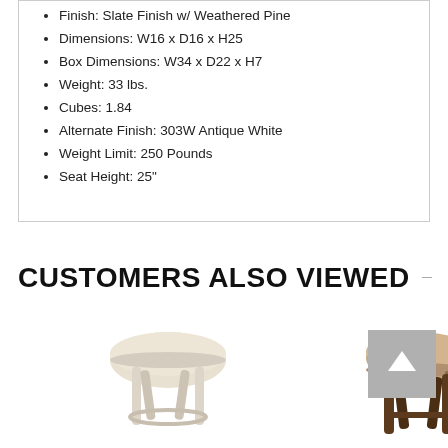Finish: Slate Finish w/ Weathered Pine
Dimensions: W16 x D16 x H25
Box Dimensions: W34 x D22 x H7
Weight: 33 lbs.
Cubes: 1.84
Alternate Finish: 303W Antique White
Weight Limit: 250 Pounds
Seat Height: 25"
CUSTOMERS ALSO VIEWED
[Figure (photo): Round upholstered backless stool with white/cream fabric seat and white/antique white wooden legs]
[Figure (photo): Round upholstered backless stool with beige/brown fabric seat with nailhead trim and dark brown wooden legs]